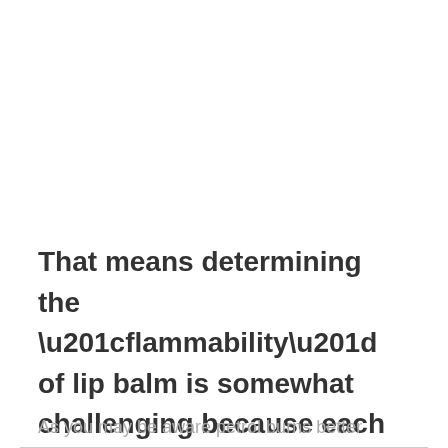That means determining the “flammability” of lip balm is somewhat challenging because each product is different.
As you may be aware petrol burns better